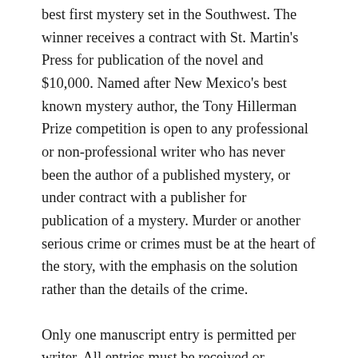best first mystery set in the Southwest. The winner receives a contract with St. Martin's Press for publication of the novel and $10,000. Named after New Mexico's best known mystery author, the Tony Hillerman Prize competition is open to any professional or non-professional writer who has never been the author of a published mystery, or under contract with a publisher for publication of a mystery. Murder or another serious crime or crimes must be at the heart of the story, with the emphasis on the solution rather than the details of the crime.
Only one manuscript entry is permitted per writer. All entries must be received or postmarked no later than June 1 of the given year. All manuscripts submitted: a) must be original works of book length (no less than 320 typewritten pages or approximately 60,000